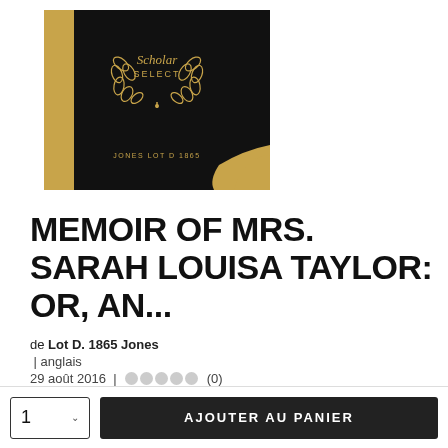[Figure (illustration): Book cover: black background with gold vertical bar on left, gold wreath with 'Scholar SELECT' text in center, 'JONES LOT D 1865' text at bottom, gold decorative corner at bottom right]
MEMOIR OF MRS. SARAH LOUISA TAYLOR: OR, AN...
de Lot D. 1865 Jones | anglais
29 août 2016 | (0)
23,95 $ | COUVERTURE SOUPLE
AJOUTER AU PANIER